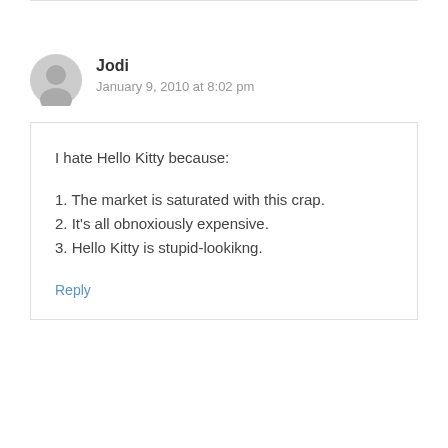Jodi
January 9, 2010 at 8:02 pm
I hate Hello Kitty because:
1. The market is saturated with this crap.
2. It's all obnoxiously expensive.
3. Hello Kitty is stupid-lookikng.
Reply